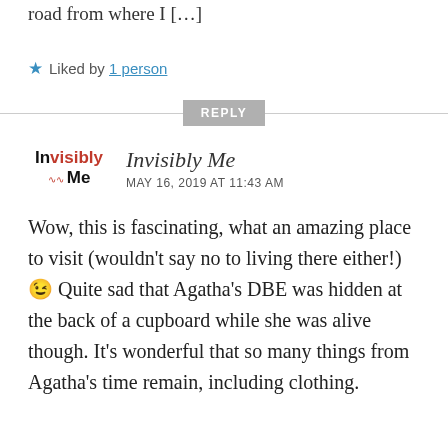road from where I […]
★ Liked by 1 person
REPLY
Invisibly Me
MAY 16, 2019 AT 11:43 AM
Wow, this is fascinating, what an amazing place to visit (wouldn't say no to living there either!) 😉 Quite sad that Agatha's DBE was hidden at the back of a cupboard while she was alive though. It's wonderful that so many things from Agatha's time remain, including clothing.